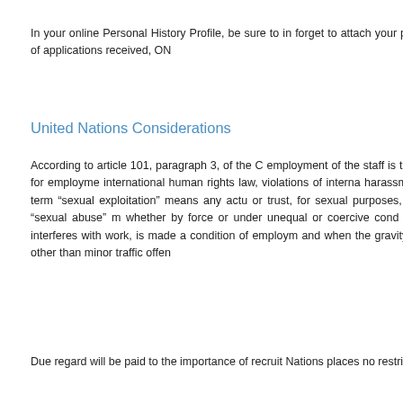In your online Personal History Profile, be sure to include all relevant details and do not forget to attach your proof of enrolment or graduation. Due to the high volume of applications received, ON
United Nations Considerations
According to article 101, paragraph 3, of the Charter of the United Nations, the paramount consideration in the employment of the staff is the necessity of securing the highest standards of efficiency, competence, and integrity. Candidates will not be considered for employment if they have committed violations of international human rights law, violations of international humanitarian law, sexual exploitation, sexual abuse, sexual harassment, or if there are reasonable grounds to believe that they have been involved in the commission of any of these acts. The term “sexual exploitation” means any actual or attempted abuse of a position of vulnerability, differential power, or trust, for sexual purposes, including, but not limited to, profiting monetarily, socially or politically from the sexual exploitation of another. The term “sexual abuse” means the actual or threatened physical intrusion of a sexual nature, whether by force or under unequal or coercive conditions. The term “sexual harassment” means any unwelcome conduct of a sexual nature that might reasonably be expected or be perceived to cause offence or humiliation, when such conduct interferes with work, is made a condition of employment or creates an intimidating, hostile or offensive work environment, and when the gravity of the conduct warrants the termination of the perpetrator’s working relationship. Candidates who have committed crimes other than minor traffic offences may not be considered for employment.
Due regard will be paid to the importance of recruiting the staff on as wide a geographical basis as possible. The United Nations places no restrictions on the eligibility of men and women to participate in any capacity and under conditions of equality in its principal and subsidiary organs.